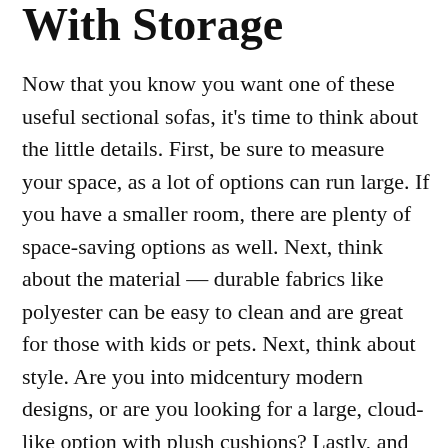With Storage
Now that you know you want one of these useful sectional sofas, it's time to think about the little details. First, be sure to measure your space, as a lot of options can run large. If you have a smaller room, there are plenty of space-saving options as well. Next, think about the material — durable fabrics like polyester can be easy to clean and are great for those with kids or pets. Next, think about style. Are you into midcentury modern designs, or are you looking for a large, cloud-like option with plush cushions? Lastly, and most importantly, consider your price range. There are affordable choices under $1,000 and designer options that go up to $3,000. What most speaks to you? Keep reading to see our top six choices. We personally love the Sand & Stable Allison Reversible Sleeper Sofa ($1,200, originally $1,471), which is affordable, comes in fun velvet shades, and, yes, even turns into a bed.